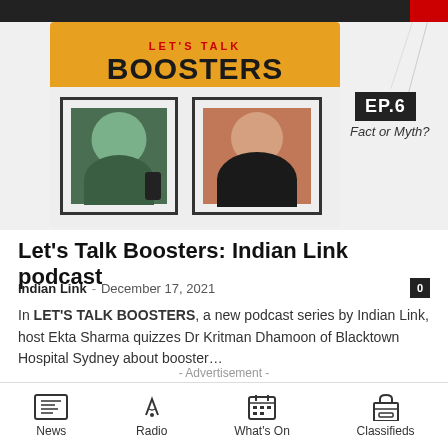[Figure (photo): Podcast promotional image showing 'LET'S TALK BOOSTERS' yellow banner with two stamp-framed portrait photos of a female host and a male guest doctor, plus EP.6 label and 'Fact or Myth?' text]
Let’s Talk Boosters: Indian Link podcast
Indian Link – December 17, 2021
In LET’S TALK BOOSTERS, a new podcast series by Indian Link, host Ekta Sharma quizzes Dr Kritman Dhamoon of Blacktown Hospital Sydney about booster…
- Advertisement -
News | Radio | What’s On | Classifieds